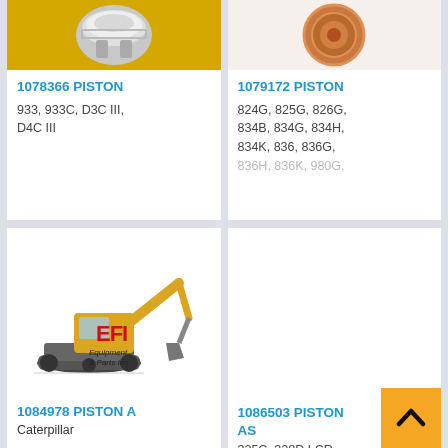[Figure (photo): Close-up photo of a metallic piston part on a yellow background]
1078366 PISTON
933, 933C, D3C III, D4C III
[Figure (photo): Copper/bronze colored circular piston part on white background]
1079172 PISTON
824G, 825G, 826G, 834B, 834G, 834H, 834K, 836, 836G, 836H, 836K, 980G,
[Figure (logo): EFI Equipment & Parts Inc. logo with yellow excavator]
1084978 PISTON A
Caterpillar
[Figure (photo): Empty white card area for second bottom product]
1086503 PISTON AS
325C, 328D LCR,